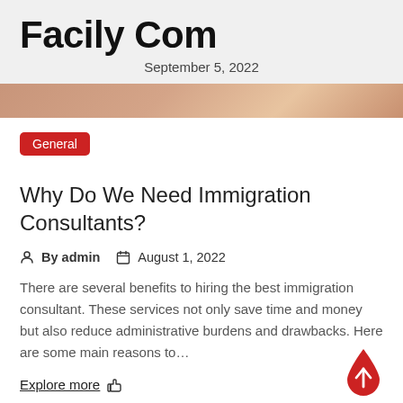Facily Com
September 5, 2022
[Figure (photo): Partial image of a hand or skin, visible as a strip at top of content area]
General
Why Do We Need Immigration Consultants?
By admin   August 1, 2022
There are several benefits to hiring the best immigration consultant. These services not only save time and money but also reduce administrative burdens and drawbacks. Here are some main reasons to…
Explore more